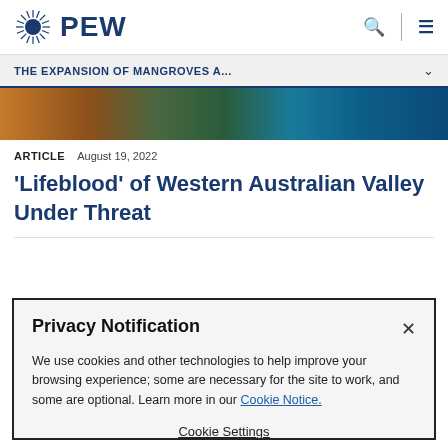PEW
THE EXPANSION OF MANGROVES A...
[Figure (photo): Aerial or coastal landscape photo showing rocky coastline with orange/brown terrain, green vegetation, and blue ocean water.]
ARTICLE  August 19, 2022
'Lifeblood' of Western Australian Valley Under Threat
Privacy Notification
We use cookies and other technologies to help improve your browsing experience; some are necessary for the site to work, and some are optional. Learn more in our Cookie Notice.
Cookie Settings